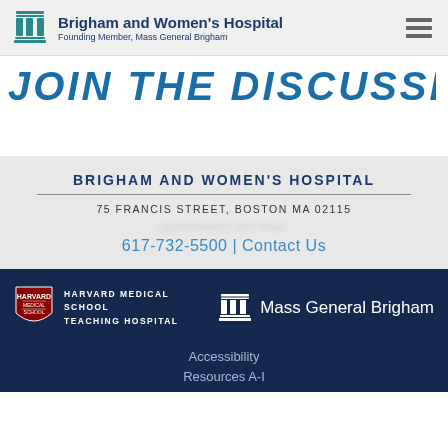Brigham and Women's Hospital — Founding Member, Mass General Brigham
JOIN THE DISCUSSION
BRIGHAM AND WOMEN'S HOSPITAL
75 FRANCIS STREET, BOSTON MA 02115
617-732-5500 | Contact Us
[Figure (logo): Harvard Medical School Teaching Hospital logo with shield emblem]
[Figure (logo): Mass General Brigham logo with column icon]
Accessibility
Resources A-I